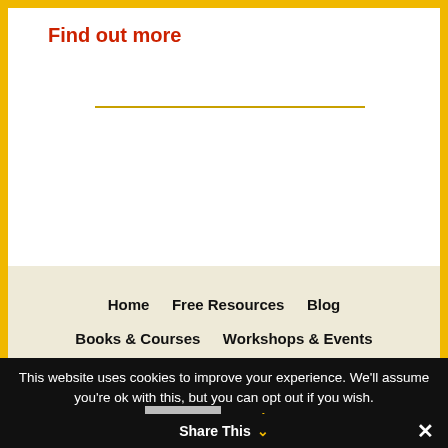Find out more
Home   Free Resources   Blog
Books & Courses   Workshops & Events
Business Coaching   About C.J. Hayden
Contact Us   Help/FAQs   Legal Notices
Facilitator Login
[Figure (other): Social media icons: Facebook, Twitter, RSS, LinkedIn]
Copyright © 2022 Wings for Business •
This website uses cookies to improve your experience. We'll assume you're ok with this, but you can opt out if you wish.
Accept   Read More
Share This